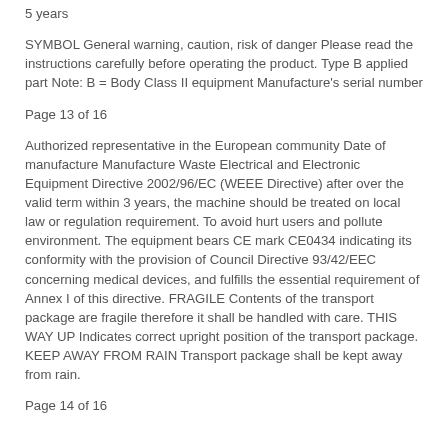5 years
SYMBOL General warning, caution, risk of danger Please read the instructions carefully before operating the product. Type B applied part Note: B = Body Class II equipment Manufacture's serial number
Page 13 of 16
Authorized representative in the European community Date of manufacture Manufacture Waste Electrical and Electronic Equipment Directive 2002/96/EC (WEEE Directive) after over the valid term within 3 years, the machine should be treated on local law or regulation requirement. To avoid hurt users and pollute environment. The equipment bears CE mark CE0434 indicating its conformity with the provision of Council Directive 93/42/EEC concerning medical devices, and fulfills the essential requirement of Annex I of this directive. FRAGILE Contents of the transport package are fragile therefore it shall be handled with care. THIS WAY UP Indicates correct upright position of the transport package. KEEP AWAY FROM RAIN Transport package shall be kept away from rain.
Page 14 of 16